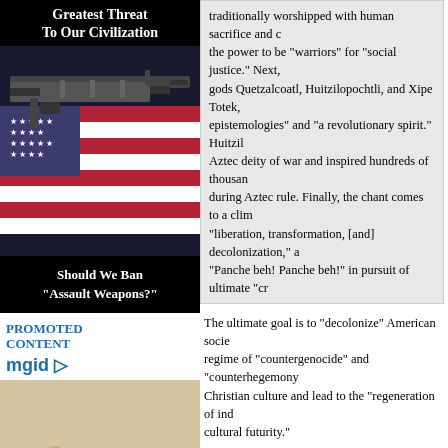Greatest Threat To Our Civilization
[Figure (photo): Assault rifle on American flag background]
Should We Ban "Assault Weapons?"
PROMOTED CONTENT
[Figure (logo): mgid logo]
[Figure (photo): Person doing yoga/workout on floor mat]
Most Wish They Knew This Before Starting At Home Workouts
traditionally worshipped with human sacrifice and c... the power to be "warriors" for "social justice." Next, gods Quetzalcoatl, Huitzilopochtli, and Xipe Totek, epistemologies" and "a revolutionary spirit." Huitzil... Aztec deity of war and inspired hundreds of thousan... during Aztec rule. Finally, the chant comes to a clim... "liberation, transformation, [and] decolonization," a... "Panche beh! Panche beh!" in pursuit of ultimate "cr...
The ultimate goal is to "decolonize" American socie... regime of "countergenocide" and "counterhegemony... Christian culture and lead to the "regeneration of ind... cultural futurity."
David Thompson in the UK took note of this proposed
Academic standards may not be quite up to snuff, bu... side. The kids can use class time to appeal to unseen... about "decolonization" and its "healing epistemolog...
as did his commenters. Two examples:
Call it Cultural Appropriation - hopefully their heads
I'm imagining some California teacher actually teach... worship of Tezkatlipoka entails, and then said pupils... taking appropriate action.